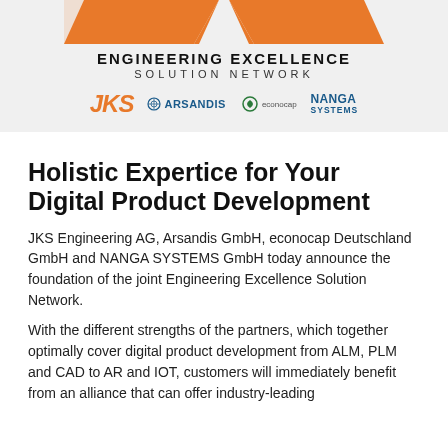[Figure (logo): Engineering Excellence Solution Network banner with orange arrow logo and four company logos: JKS, Arsandis, econocap, NANGA SYSTEMS]
Holistic Expertice for Your Digital Product Development
JKS Engineering AG, Arsandis GmbH, econocap Deutschland GmbH and NANGA SYSTEMS GmbH today announce the foundation of the joint Engineering Excellence Solution Network.
With the different strengths of the partners, which together optimally cover digital product development from ALM, PLM and CAD to AR and IOT, customers will immediately benefit from an alliance that can offer industry-leading